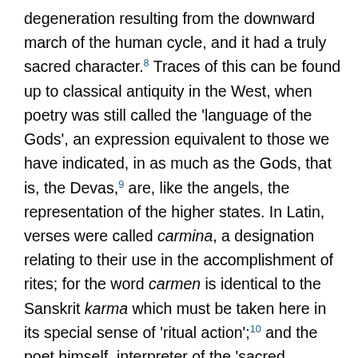degeneration resulting from the downward march of the human cycle, and it had a truly sacred character.8 Traces of this can be found up to classical antiquity in the West, when poetry was still called the 'language of the Gods', an expression equivalent to those we have indicated, in as much as the Gods, that is, the Devas,9 are, like the angels, the representation of the higher states. In Latin, verses were called carmina, a designation relating to their use in the accomplishment of rites; for the word carmen is identical to the Sanskrit karma which must be taken here in its special sense of 'ritual action';10 and the poet himself, interpreter of the 'sacred language' through which the divine Word appears, was vates, a word which defined him as endowed with an inspiration that was in some way prophetic. Later, by another degeneration, the vates